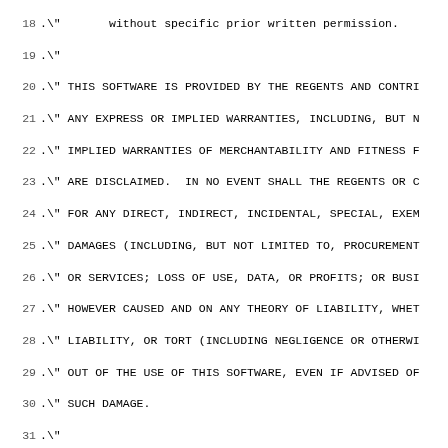Source code listing lines 18-50 of rshd.8 man page BSD license header and man page macros
18  .\"       without specific prior written permission.
19  .\"
20  .\" THIS SOFTWARE IS PROVIDED BY THE REGENTS AND CONTRI
21  .\" ANY EXPRESS OR IMPLIED WARRANTIES, INCLUDING, BUT N
22  .\" IMPLIED WARRANTIES OF MERCHANTABILITY AND FITNESS F
23  .\" ARE DISCLAIMED.  IN NO EVENT SHALL THE REGENTS OR C
24  .\" FOR ANY DIRECT, INDIRECT, INCIDENTAL, SPECIAL, EXEM
25  .\" DAMAGES (INCLUDING, BUT NOT LIMITED TO, PROCUREMENT
26  .\" OR SERVICES; LOSS OF USE, DATA, OR PROFITS; OR BUSI
27  .\" HOWEVER CAUSED AND ON ANY THEORY OF LIABILITY, WHET
28  .\" LIABILITY, OR TORT (INCLUDING NEGLIGENCE OR OTHERWI
29  .\" OUT OF THE USE OF THIS SOFTWARE, EVEN IF ADVISED OF
30  .\" SUCH DAMAGE.
31  .\"
32  .\"      @(#)rshd.8       8.1 (Berkeley) 6/4/93
33  .\" $FreeBSD: src/libexec/rshd/rshd.8,v 1.18.2.5 2001/0
34  .\" $DragonFly: src/libexec/rshd/rshd.8,v 1.3 2003/11/2
35  .\"
36  .Dd June 4, 1993
37  .Dt RSHD 8
38  .Os
39  .Sh NAME
40  .Nm rshd
41  .Nd remote shell server
42  .Sh SYNOPSIS
43  .Nm
44  .Op Fl \&?DLaln
45  .Sh DESCRIPTION
46  The
47  .Nm
48  server
49  is the server for the
50  .Xr rcmd 3